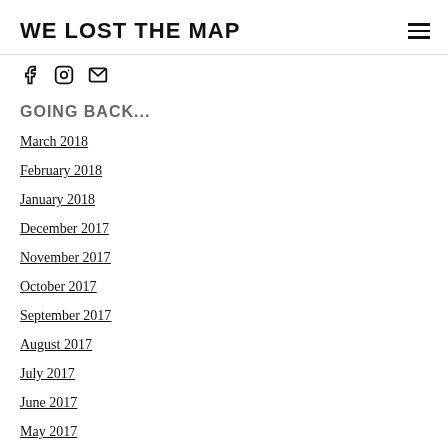WE LOST THE MAP
GOING BACK...
March 2018
February 2018
January 2018
December 2017
November 2017
October 2017
September 2017
August 2017
July 2017
June 2017
May 2017
April 2017
March 2017
February 2017